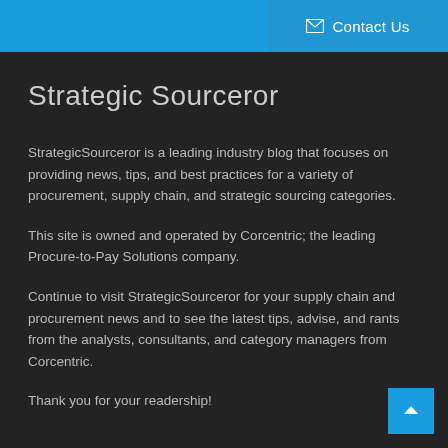✉ Contact Us
Strategic Sourceror
StrategicSourceror is a leading industry blog that focuses on providing news, tips, and best practices for a variety of procurement, supply chain, and strategic sourcing categories.
This site is owned and operated by Corcentric; the leading Procure-to-Pay Solutions company.
Continue to visit StrategicSourceror for your supply chain and procurement news and to see the latest tips, advise, and rants from the analysts, consultants, and category managers from Corcentric.
Thank you for your readership!